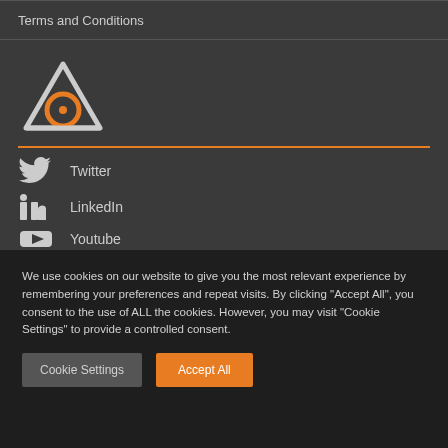Terms and Conditions
[Figure (logo): Blender logo — orange circle with white triangle and horizontal line, orange divider line below]
Twitter
LinkedIn
Youtube
We use cookies on our website to give you the most relevant experience by remembering your preferences and repeat visits. By clicking "Accept All", you consent to the use of ALL the cookies. However, you may visit "Cookie Settings" to provide a controlled consent.
Cookie Settings
Accept All